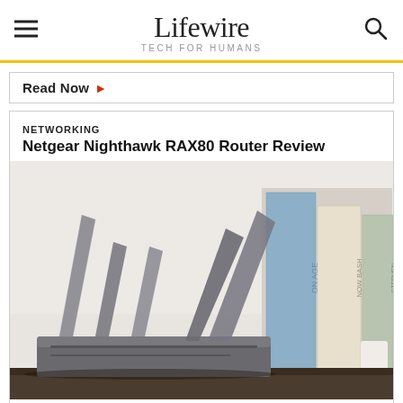Lifewire TECH FOR HUMANS
Read Now ▶
NETWORKING
Netgear Nighthawk RAX80 Router Review
[Figure (photo): Netgear Nighthawk RAX80 router on a dark wooden surface next to several books, photographed against a white wall background.]